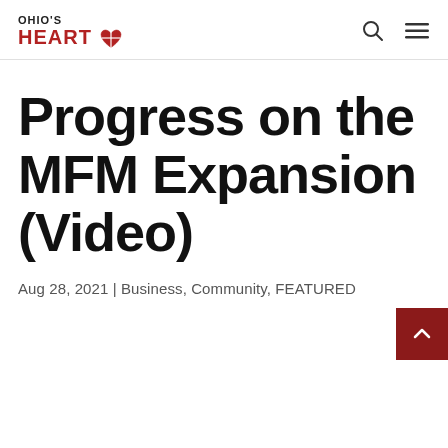OHIO'S HEART
Progress on the MFM Expansion (Video)
Aug 28, 2021 | Business, Community, FEATURED